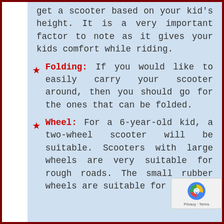get a scooter based on your kid's height. It is a very important factor to note as it gives your kids comfort while riding.
Folding: If you would like to easily carry your scooter around, then you should go for the ones that can be folded.
Wheel: For a 6-year-old kid, a two-wheel scooter will be suitable. Scooters with large wheels are very suitable for rough roads. The small rubber wheels are suitable for smooth